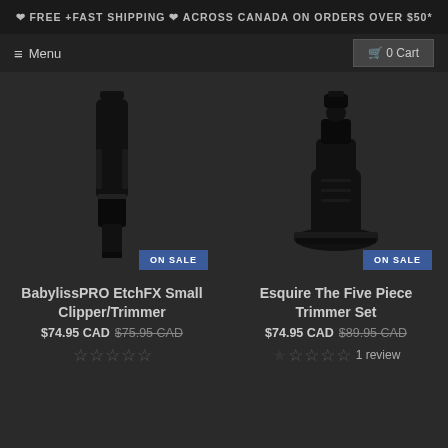❤ FREE +FAST SHIPPING ❤ ACROSS CANADA ON ORDERS OVER $50*
≡ Menu   🛒 0 Cart
[Figure (photo): BabylissPRO EtchFX Small Clipper/Trimmer product photo on dark background with ON SALE badge]
BabylissPRO EtchFX Small Clipper/Trimmer
$74.95 CAD $75.95 CAD
☆☆☆☆☆
[Figure (photo): Esquire The Five Piece Trimmer Set product photo on dark background with ON SALE badge]
Esquire The Five Piece Trimmer Set
$74.95 CAD $89.95 CAD
★☆☆☆☆ 1 review